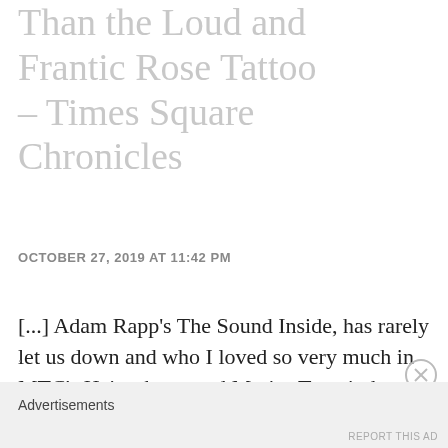Than the Loud and Frantic Rose Tattoo – Times Square Chronicles
OCTOBER 27, 2019 AT 11:42 PM
[...] Adam Rapp's The Sound Inside, has rarely let us down and who I loved so very much in MTC's Heisenberg, and Marisa Tomei, the star of Roundabout's The Rose Tattoo, who was simply the best thing in [...]
Advertisements
REPORT THIS AD